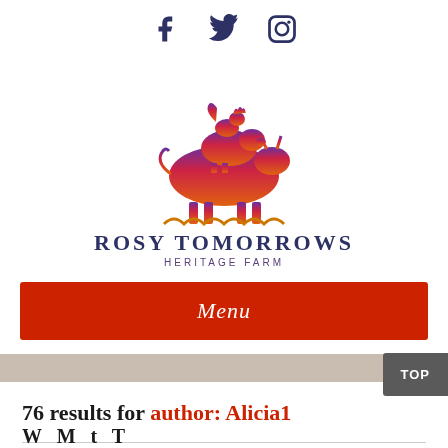Social icons: Facebook, Twitter, Instagram
[Figure (logo): Rosy Tomorrows Heritage Farm logo: silhouette of stacked farm animals (cow, pig, rooster) with gradient from orange to purple, above the text ROSY TOMORROWS HERITAGE FARM]
Menu
76 results for author: Alicia1
TOP